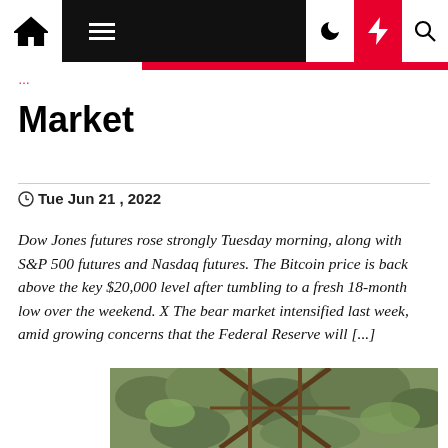Navigation bar with home, menu, moon, lightning, and search icons
Market
Tue Jun 21, 2022
Dow Jones futures rose strongly Tuesday morning, along with S&P 500 futures and Nasdaq futures. The Bitcoin price is back above the key $20,000 level after tumbling to a fresh 18-month low over the weekend. X The bear market intensified last week, amid growing concerns that the Federal Reserve will [...]
[Figure (photo): Outdoor photo showing a wooden trellis or lattice structure with green plants and foliage in the background]